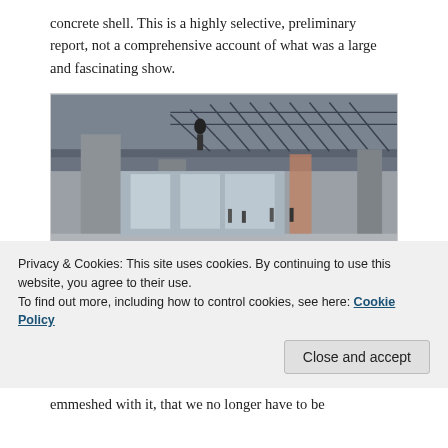concrete shell. This is a highly selective, preliminary report, not a comprehensive account of what was a large and fascinating show.
[Figure (photo): Interior of a large concrete building with exposed columns, mezzanine level with metal railings, and people visible in the background. A small object sits on the polished concrete floor in the foreground.]
Privacy & Cookies: This site uses cookies. By continuing to use this website, you agree to their use.
To find out more, including how to control cookies, see here: Cookie Policy
emmeshed with it, that we no longer have to be